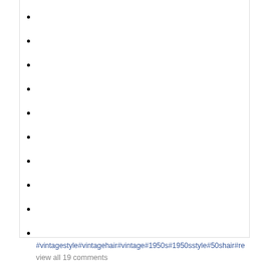#vintagestyle#vintagehair#vintage#1950s#1950sstyle#50shair#re
view all 19 comments
Add a comment...
West Palm Drive
This narrow street has a gorgeous tree canopy, and one of the older houses on the route was used in the film.